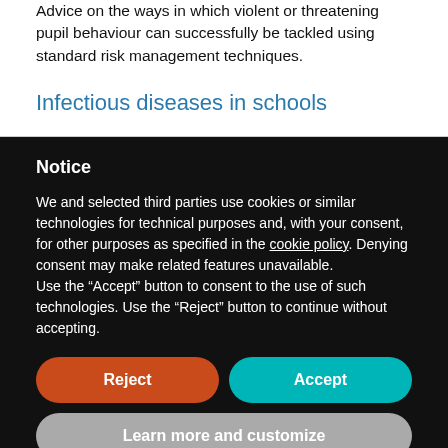Advice on the ways in which violent or threatening pupil behaviour can successfully be tackled using standard risk management techniques.
Infectious diseases in schools
Notice
We and selected third parties use cookies or similar technologies for technical purposes and, with your consent, for other purposes as specified in the cookie policy. Denying consent may make related features unavailable.
Use the "Accept" button to consent to the use of such technologies. Use the "Reject" button to continue without accepting.